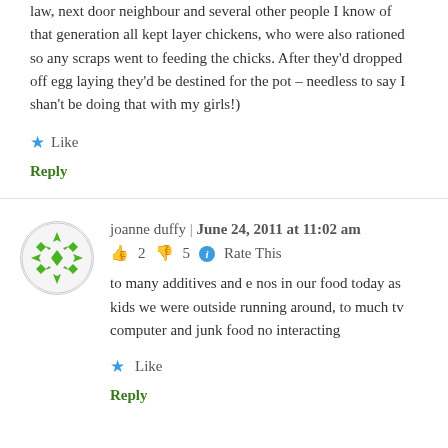law, next door neighbour and several other people I know of that generation all kept layer chickens, who were also rationed so any scraps went to feeding the chicks. After they'd dropped off egg laying they'd be destined for the pot – needless to say I shan't be doing that with my girls!)
★ Like
Reply
[Figure (illustration): Circular avatar with green geometric snowflake-like pattern on white background]
joanne duffy | June 24, 2011 at 11:02 am
👍 2 👎 5 ℹ Rate This
to many additives and e nos in our food today as kids we were outside running around, to much tv computer and junk food no interacting
★ Like
Reply